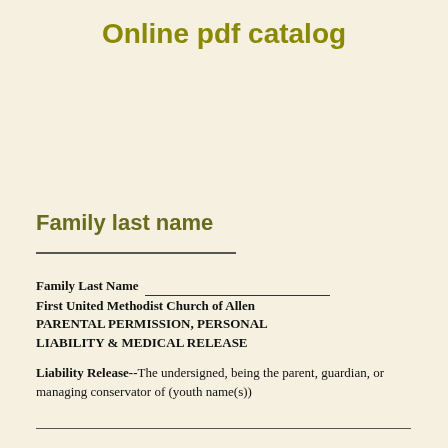Online pdf catalog
Family last name
Family Last Name ___________________________
First United Methodist Church of Allen
PARENTAL PERMISSION, PERSONAL LIABILITY & MEDICAL RELEASE

Liability Release--The undersigned, being the parent, guardian, or managing conservator of (youth name(s))